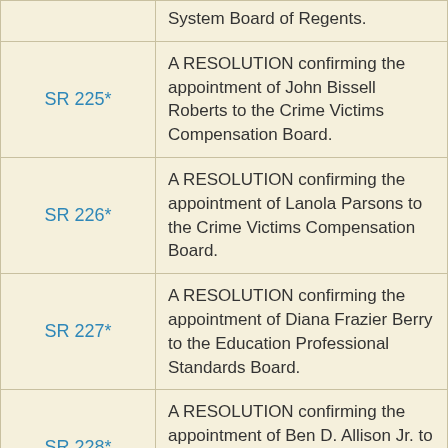| Resolution | Description |
| --- | --- |
|  | System Board of Regents. |
| SR 225* | A RESOLUTION confirming the appointment of John Bissell Roberts to the Crime Victims Compensation Board. |
| SR 226* | A RESOLUTION confirming the appointment of Lanola Parsons to the Crime Victims Compensation Board. |
| SR 227* | A RESOLUTION confirming the appointment of Diana Frazier Berry to the Education Professional Standards Board. |
| SR 228* | A RESOLUTION confirming the appointment of Ben D. Allison Jr. to the Board of Trustees of the Judicial Form Retirement System. |
| SR 229* | A RESOLUTION confirming the appointment of John J. Stovall to the Kentucky Lottery Corporation Board of Directors. |